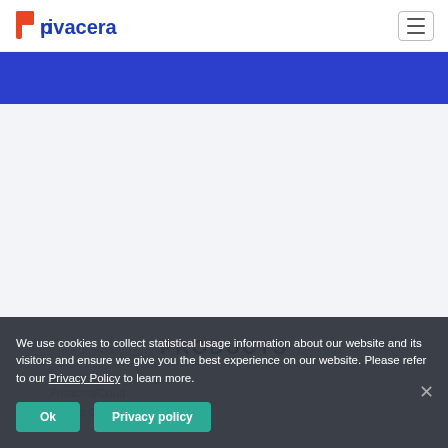privacera
[Figure (logo): Privacera logo with orange 'p' icon and blue text]
PRODUCTS
Automated Discovery
PrivaceraCloud
Access Control
We use cookies to collect statistical usage information about our website and its visitors and ensure we give you the best experience on our website. Please refer to our Privacy Policy to learn more.
Ok   Privacy policy